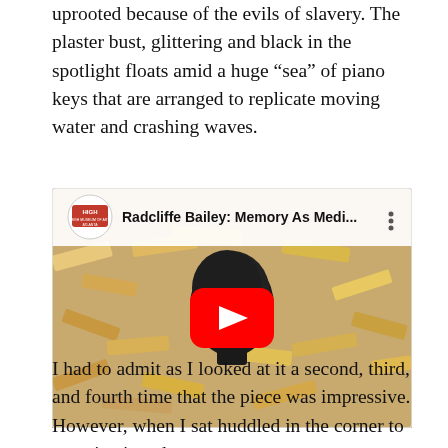uprooted because of the evils of slavery. The plaster bust, glittering and black in the spotlight floats amid a huge “sea” of piano keys that are arranged to replicate moving water and crashing waves.
[Figure (screenshot): YouTube video thumbnail showing Radcliffe Bailey: Memory As Medi... with a black sculpture head surrounded by scattered piano keys, featuring the High Museum of Art Atlanta logo and a red YouTube play button in the center.]
I had to admit as I looked at it a second, third, and fourth time that the piece was impressive. However, when I sat huddled in the corner to examine it and